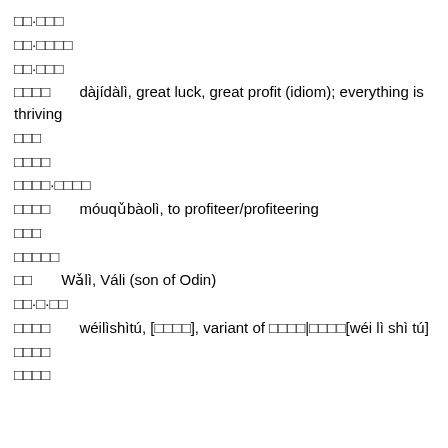□□·□□□
□□·□□□□
□□·□□□
□□□□      dàjídàlì, great luck, great profit (idiom); everything is thriving
□□□
□□□□
□□□□·□□□□
□□□□      móuqǔbàolì, to profiteer/profiteering
□□□
□□□□□
□□      Wǎlì, Váli (son of Odin)
□□·□·□□
□□□□      wéilìshìtú, [□□□□], variant of □□□□|□□□□[wéi lì shì tú]
□□□□
□□□□